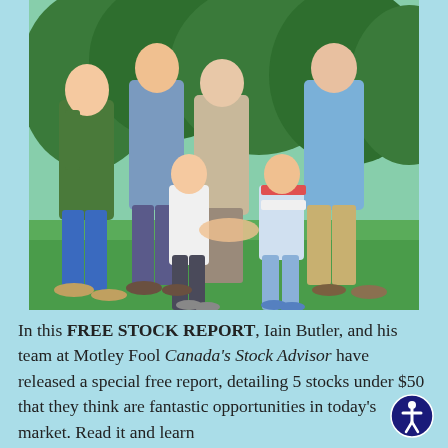[Figure (photo): A multi-generational family of six posing outdoors on a green lawn with trees in the background. Two grandparents, two parents/adults, and two young children smiling together.]
In this FREE STOCK REPORT, Iain Butler, and his team at Motley Fool Canada's Stock Advisor have released a special free report, detailing 5 stocks under $50 that they think are fantastic opportunities in today's market. Read it and learn